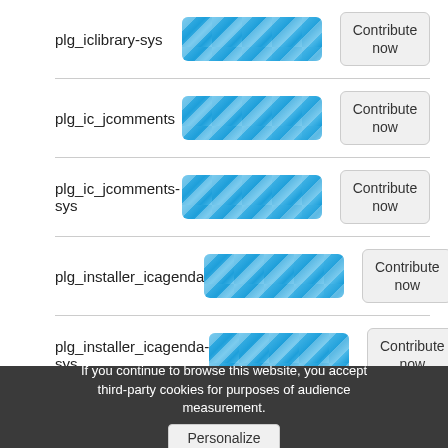plg_iclibrary-sys
plg_ic_jcomments
plg_ic_jcomments-sys
plg_installer_icagenda
plg_installer_icagenda-sys
plg_privacy_icagenda
If you continue to browse this website, you accept third-party cookies for purposes of audience measurement.